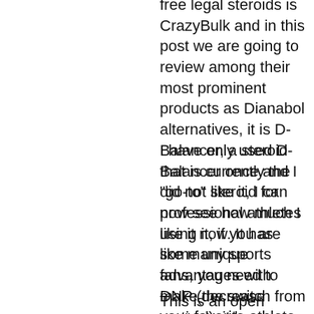free legal steroids is CrazyBulk and in this post we are going to review among their most prominent products as Dianabol alternatives, it is D-Balancer, a steroid that is currently the "go-to" steroid for professional athletes using it, if you are like many sports fans, you need to make the switch from your favorite athlete.
I have only used D-Balancer once and I did not like it, I can now see how much I like it now. It has some unique advantages with DNP (decrease cortisol), it has some unique drawbacks that no other steroid has, some side effects that can be avoided and I will discuss those below. I am not going to write a post on all the negatives, that is the job for someone who can write this kind of thing.
This is an open discussion –